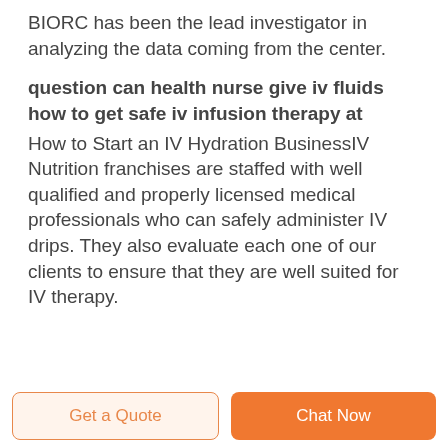BIORC has been the lead investigator in analyzing the data coming from the center.
question can health nurse give iv fluids how to get safe iv infusion therapy at
How to Start an IV Hydration BusinessIV Nutrition franchises are staffed with well qualified and properly licensed medical professionals who can safely administer IV drips. They also evaluate each one of our clients to ensure that they are well suited for IV therapy.
Get a Quote  Chat Now